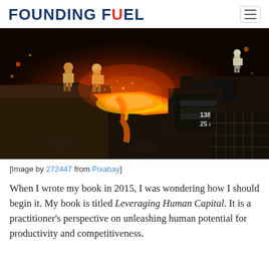FOUNDING FUEL
[Figure (photo): Steel foundry workers pouring molten metal in an industrial setting at night. Bright orange flames and molten steel glow; workers in protective gear stand on elevated platform. Numbers 138 and 257 visible on equipment.]
[Image by 272447 from Pixabay]
When I wrote my book in 2015, I was wondering how I should begin it. My book is titled Leveraging Human Capital. It is a practitioner’s perspective on unleashing human potential for productivity and competitiveness.